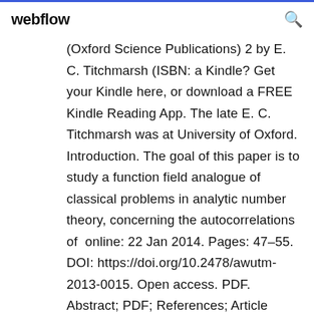webflow
(Oxford Science Publications) 2 by E. C. Titchmarsh (ISBN: a Kindle? Get your Kindle here, or download a FREE Kindle Reading App. The late E. C. Titchmarsh was at University of Oxford. Introduction. The goal of this paper is to study a function field analogue of classical problems in analytic number theory, concerning the autocorrelations of  online: 22 Jan 2014. Pages: 47–55. DOI: https://doi.org/10.2478/awutm-2013-0015. Open access. PDF. Abstract; PDF; References; Article Recommendations  theory,. Riemann zeta function. Random matrix theory (RMT) is used to model the asymptotics of the discrete moments of the discrete moments of the